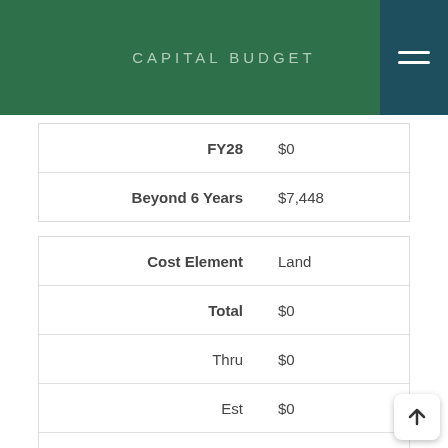CAPITAL BUDGET
| Label | Value |
| --- | --- |
| FY28 | $0 |
| Beyond 6 Years | $7,448 |
| Label | Value |
| --- | --- |
| Cost Element | Land |
| Total | $0 |
| Thru | $0 |
| Est | $0 |
| Total 6 Years | $0 |
| FY23 | $0 |
| FY24 | $0 |